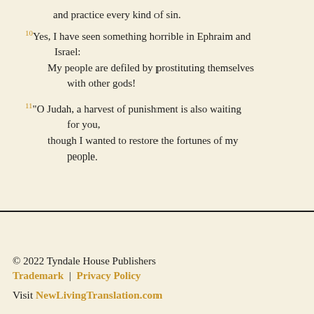and practice every kind of sin.
10 Yes, I have seen something horrible in Ephraim and Israel:
My people are defiled by prostituting themselves with other gods!
11 "O Judah, a harvest of punishment is also waiting for you,
though I wanted to restore the fortunes of my people.
© 2022 Tyndale House Publishers
Trademark | Privacy Policy
Visit NewLivingTranslation.com